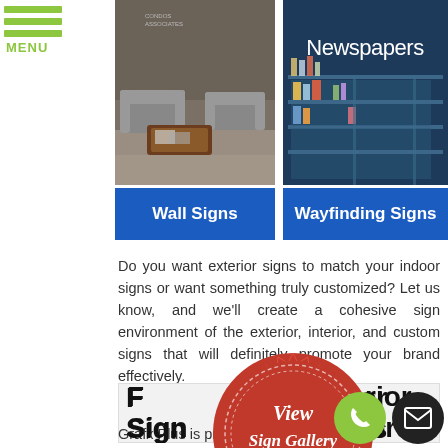[Figure (screenshot): Menu hamburger icon with green lines and MENU text label]
[Figure (photo): Office lounge interior with gray sofas and a wooden coffee table]
[Figure (photo): Dark blue wall with Newspapers sign and display shelves]
Wall Signs
Wayfinding Signs
Do you want exterior signs to match your indoor signs or want something truly customized? Let us know, and we'll create a cohesive sign environment of the exterior, interior, and custom signs that will definitely promote your brand effectively.
[Figure (illustration): Red wax seal stamp with View Sign Gallery text and gold CLICK HERE banner ribbon]
Find Your Sice Interior Sign Manufacturers
Grafx Plus is proud to offer a full sig ice